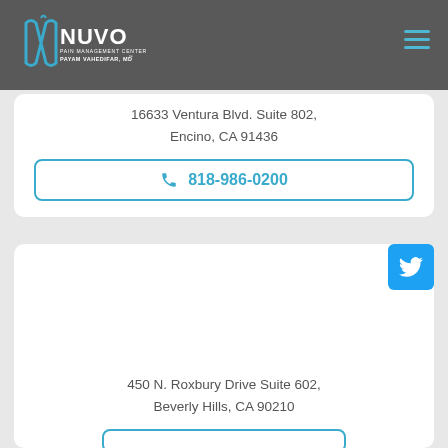NUVO PAIN MANAGEMENT CENTER PAYAM VAHEDIFAR, MD
16633 Ventura Blvd. Suite 802, Encino, CA 91436
818-986-0200
450 N. Roxbury Drive Suite 602, Beverly Hills, CA 90210